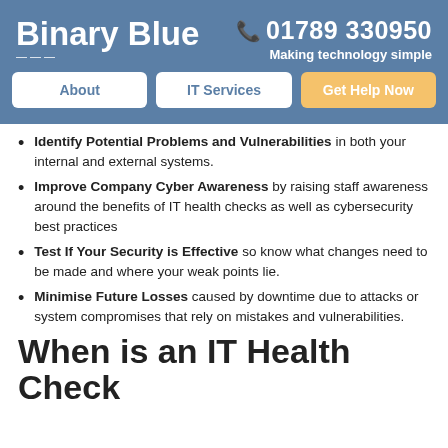Binary Blue  01789 330950  Making technology simple
[Figure (other): Navigation bar with About, IT Services, and Get Help Now buttons]
Identify Potential Problems and Vulnerabilities in both your internal and external systems.
Improve Company Cyber Awareness by raising staff awareness around the benefits of IT health checks as well as cybersecurity best practices
Test If Your Security is Effective so know what changes need to be made and where your weak points lie.
Minimise Future Losses caused by downtime due to attacks or system compromises that rely on mistakes and vulnerabilities.
When is an IT Health Check